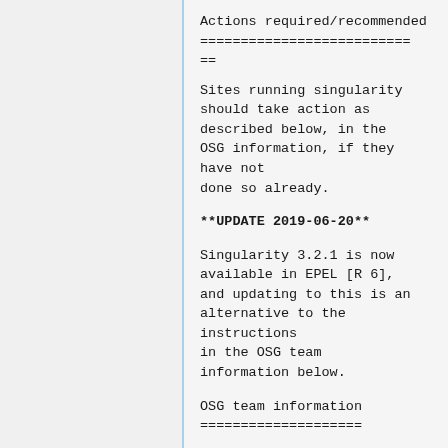Actions required/recommended
==========================
==
Sites running singularity should take action as described below, in the OSG information, if they have not done so already.
**UPDATE 2019-06-20**
Singularity 3.2.1 is now available in EPEL [R 6], and updating to this is an alternative to the instructions in the OSG team information below.
OSG team information
====================